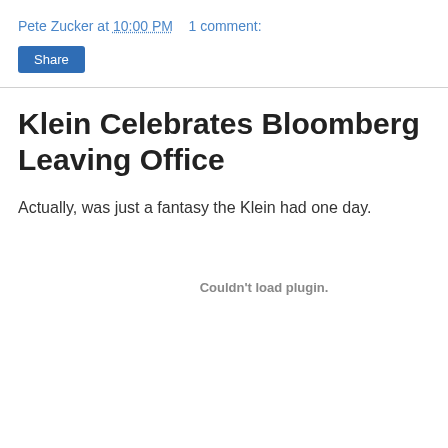Pete Zucker at 10:00 PM   1 comment:
Share
Klein Celebrates Bloomberg Leaving Office
Actually, was just a fantasy the Klein had one day.
Couldn't load plugin.